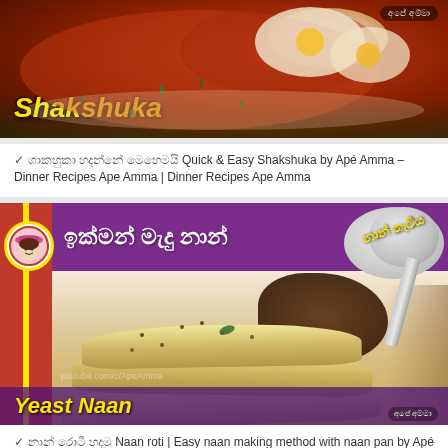[Figure (photo): Shakshuka dish photo thumbnail with yellow bold italic title 'Shakshuka' at bottom left and Ape Amma logo top right]
✓ [Sinhala text] Quick & Easy Shakshuka by Apé Amma – Dinner Recipes Ape Amma | Dinner Recipes Ape Amma
[Figure (photo): Yeast Naan recipe thumbnail. Purple banner at top with Sinhala text 'ඉක්මන් මැදු නාන්', speech bubble with Sinhala 'නාන් තැටිය', Ape Amma logo circle on left red/yellow stripe, naan bread and curry in center, spoon top right, title 'Yeast Naan' at bottom left in yellow italic on purple bar.]
✓ [Sinhala text] Naan roti | Easy naan making method with naan pan by Apé Amma – Dinner Recipes Ape Amma | Dinner Recipes Ape Amma